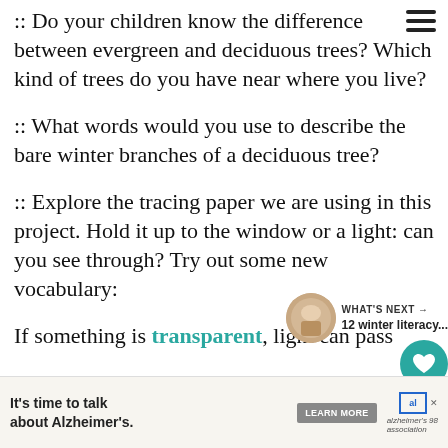:: Do your children know the difference between evergreen and deciduous trees? Which kind of trees do you have near where you live?
:: What words would you use to describe the bare winter branches of a deciduous tree?
:: Explore the tracing paper we are using in this project. Hold it up to the window or a light: can you see through? Try out some new vocabulary:
If something is transparent, light can pass th...